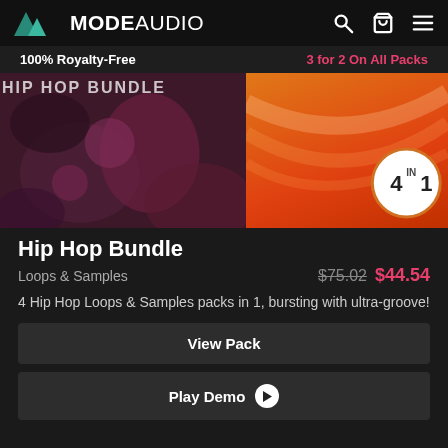MODE AUDIO
100% Royalty-Free   3 for 2 On All Packs
[Figure (illustration): Hip Hop Bundle product banner image showing dark floral/foliage art on left half and orange sunset gradient on right half with '4 IN 1' badge circle in lower right]
Hip Hop Bundle
Loops & Samples   $75.02  $44.54
4 Hip Hop Loops & Samples packs in 1, bursting with ultra-groove!
View Pack
Play Demo